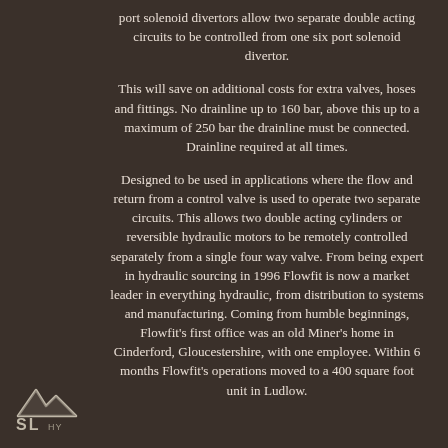port solenoid divertors allow two separate double acting circuits to be controlled from one six port solenoid divertor.
This will save on additional costs for extra valves, hoses and fittings. No drainline up to 160 bar, above this up to a maximum of 250 bar the drainline must be connected. Drainline required at all times.
Designed to be used in applications where the flow and return from a control valve is used to operate two separate circuits. This allows two double acting cylinders or reversible hydraulic motors to be remotely controlled separately from a single four way valve. From being expert in hydraulic sourcing in 1996 Flowfit is now a market leader in everything hydraulic, from distribution to systems and manufacturing. Coming from humble beginnings, Flowfit's first office was an old Miner's home in Cinderford, Gloucestershire, with one employee. Within 6 months Flowfit's operations moved to a 400 square foot unit in Ludlow.
[Figure (logo): SL Hydraulics logo — stylized mountain/chevron shape above letters SL HY]